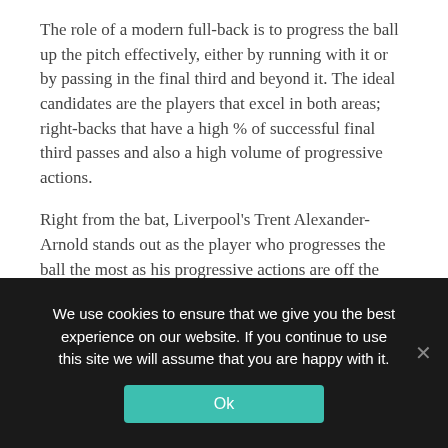The role of a modern full-back is to progress the ball up the pitch effectively, either by running with it or by passing in the final third and beyond it. The ideal candidates are the players that excel in both areas; right-backs that have a high % of successful final third passes and also a high volume of progressive actions.
Right from the bat, Liverpool's Trent Alexander-Arnold stands out as the player who progresses the ball the most as his progressive actions are off the charts (17.91). He is, however, not as accurate a final third passer as some of the
We use cookies to ensure that we give you the best experience on our website. If you continue to use this site we will assume that you are happy with it.